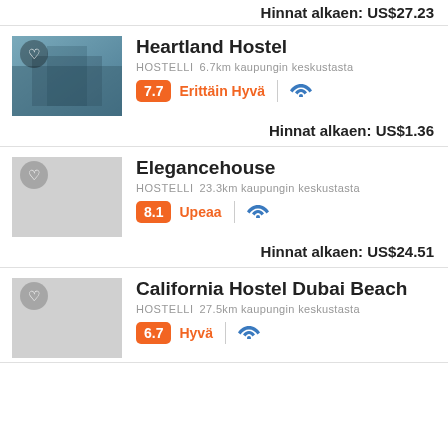Hinnat alkaen: US$27.23
[Figure (photo): Heartland Hostel thumbnail photo showing interior/exterior]
Heartland Hostel
HOSTELLI  6.7km kaupungin keskustasta
7.7  Erittäin Hyvä
Hinnat alkaen: US$1.36
[Figure (photo): Elegancehouse placeholder thumbnail (gray)]
Elegancehouse
HOSTELLI  23.3km kaupungin keskustasta
8.1  Upeaa
Hinnat alkaen: US$24.51
[Figure (photo): California Hostel Dubai Beach placeholder thumbnail (gray)]
California Hostel Dubai Beach
HOSTELLI  27.5km kaupungin keskustasta
6.7  Hyvä